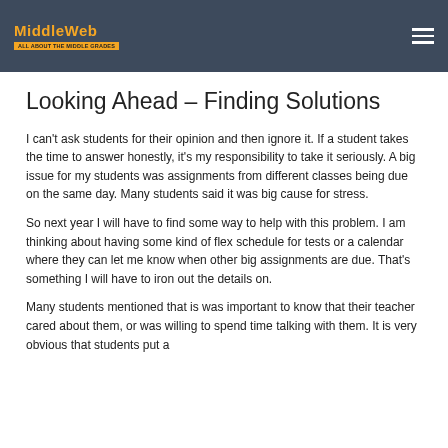MiddleWeb
Looking Ahead – Finding Solutions
I can't ask students for their opinion and then ignore it. If a student takes the time to answer honestly, it's my responsibility to take it seriously. A big issue for my students was assignments from different classes being due on the same day. Many students said it was big cause for stress.
So next year I will have to find some way to help with this problem. I am thinking about having some kind of flex schedule for tests or a calendar where they can let me know when other big assignments are due. That's something I will have to iron out the details on.
Many students mentioned that is was important to know that their teacher cared about them, or was willing to spend time talking with them. It is very obvious that students put a premium on their relationship with their teacher above their...